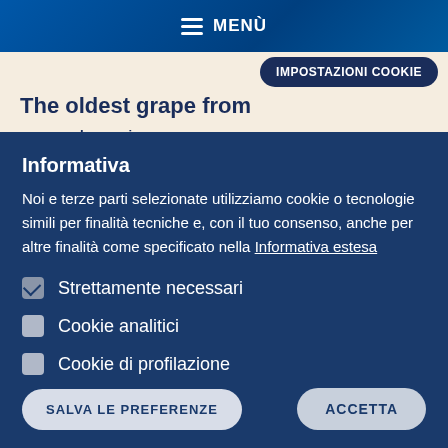MENÙ
The oldest grape from
Innovazione
IMPOSTAZIONI COOKIE
Informativa
Noi e terze parti selezionate utilizziamo cookie o tecnologie simili per finalità tecniche e, con il tuo consenso, anche per altre finalità come specificato nella Informativa estesa
Strettamente necessari
Cookie analitici
Cookie di profilazione
SALVA LE PREFERENZE
ACCETTA